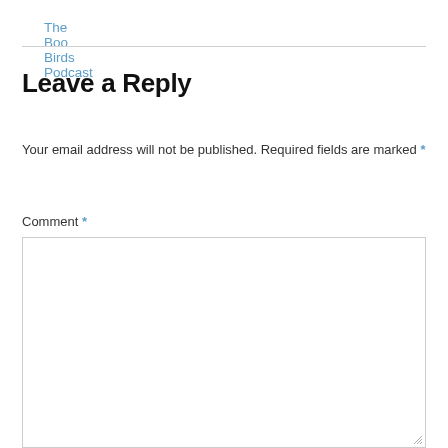The Boo Birds Podcast
Leave a Reply
Your email address will not be published. Required fields are marked *
Comment *